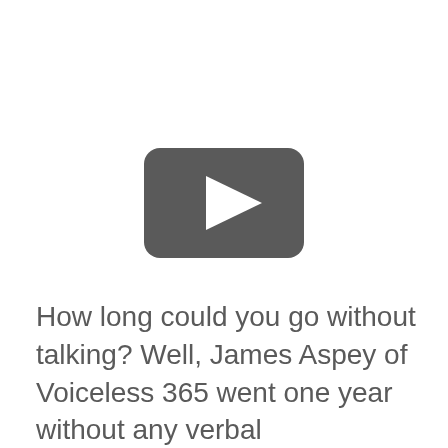[Figure (other): YouTube-style video player placeholder with dark rounded rectangle and white play button triangle in center]
How long could you go without talking? Well, James Aspey of Voiceless 365 went one year without any verbal communication to bring